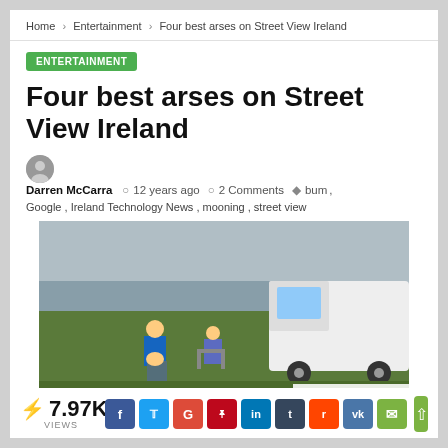Home > Entertainment > Four best arses on Street View Ireland
ENTERTAINMENT
Four best arses on Street View Ireland
Darren McCarra  12 years ago  2 Comments  bum , Google , Ireland Technology News , mooning , street view
[Figure (photo): Street View photo of a person mooning near a coastal road with a white van parked nearby and someone sitting in a chair. Caption: Street View mooner]
Street View mooner
⚡ 7.97K VIEWS